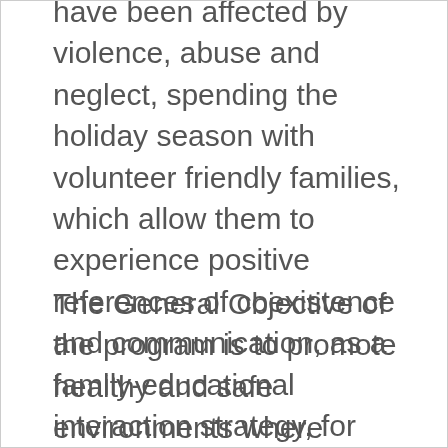have been affected by violence, abuse and neglect, spending the holiday season with volunteer friendly families, which allow them to experience positive references of coexistence and communication, as a family-educational interaction strategy, for children
The General Objective of the program is to promote healthy and safe environments where children and adolescents, who have experienced difficult living conditions in their families of origin, through the program learn and live new family models, enabling the